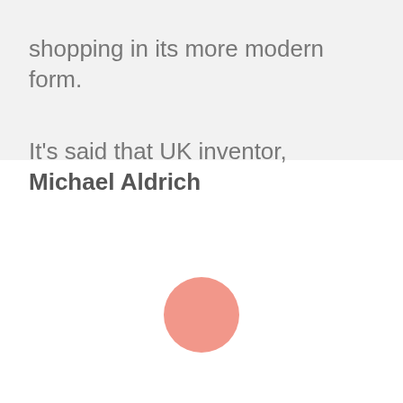shopping in its more modern form.
It's said that UK inventor, Michael Aldrich
[Figure (other): A salmon/coral colored loading spinner circle centered on the lower portion of the page]